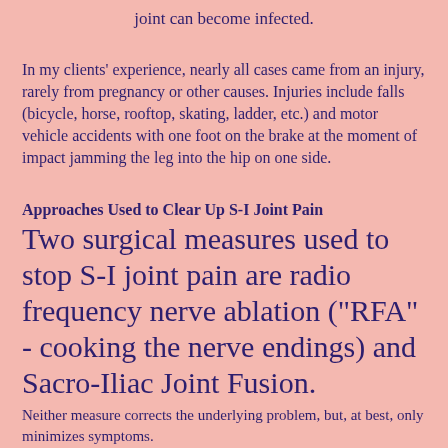joint can become infected.
In my clients' experience, nearly all cases came from an injury, rarely from pregnancy or other causes. Injuries include falls (bicycle, horse, rooftop, skating, ladder, etc.) and motor vehicle accidents with one foot on the brake at the moment of impact jamming the leg into the hip on one side.
Approaches Used to Clear Up S-I Joint Pain
Two surgical measures used to stop S-I joint pain are radio frequency nerve ablation ("RFA" - cooking the nerve endings) and Sacro-Iliac Joint Fusion.
Neither measure corrects the underlying problem, but, at best, only minimizes symptoms.
(TEMPORARY PAIN RELIEF:)  Nerve ablation ("RFA") costs about $2,100 and lasts 9-12 months before the nerve returns, and is repetitive...